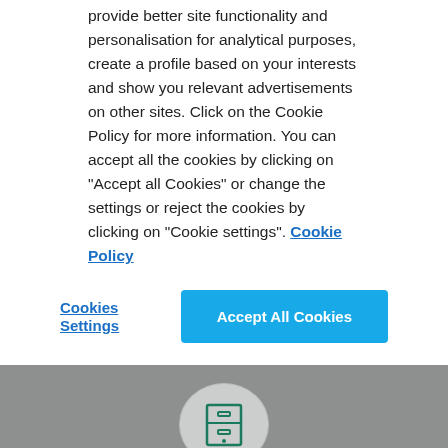provide better site functionality and personalisation for analytical purposes, create a profile based on your interests and show you relevant advertisements on other sites. Click on the Cookie Policy for more information. You can accept all the cookies by clicking on "Accept all Cookies" or change the settings or reject the cookies by clicking on "Cookie settings". Cookie Policy
Cookies Settings
Accept All Cookies
[Figure (other): A teal/green icon of a filing cabinet or card index box inside a light circular background on a grey section]
PROJECT TITLE
Origin and functions of the tumor stroma in metastatic colorectal cancer